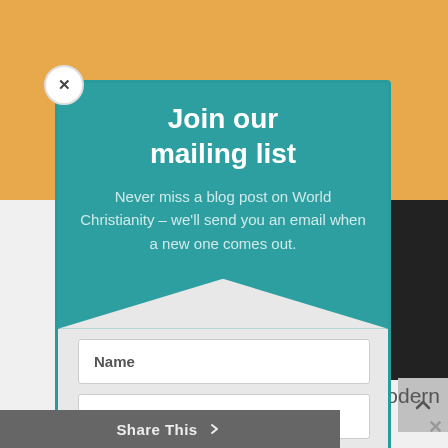[Figure (screenshot): Website background with orange header area and light gray content area below. A dark image panel appears on the right side.]
Join our mailing list
Never miss a blog post on World Christianity – we'll send you an email when a new one comes out.
Name
Email
Subscribe
Share This
the idea odern